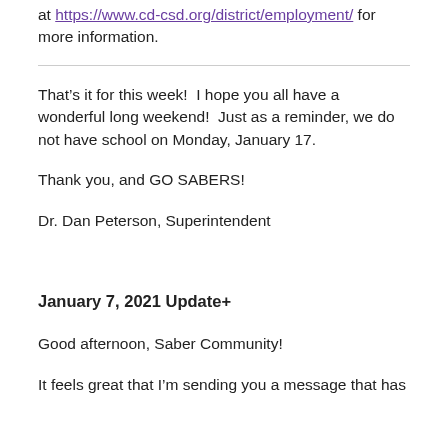at https://www.cd-csd.org/district/employment/ for more information.
That’s it for this week!  I hope you all have a wonderful long weekend!  Just as a reminder, we do not have school on Monday, January 17.
Thank you, and GO SABERS!
Dr. Dan Peterson, Superintendent
January 7, 2021 Update+
Good afternoon, Saber Community!
It feels great that I’m sending you a message that has